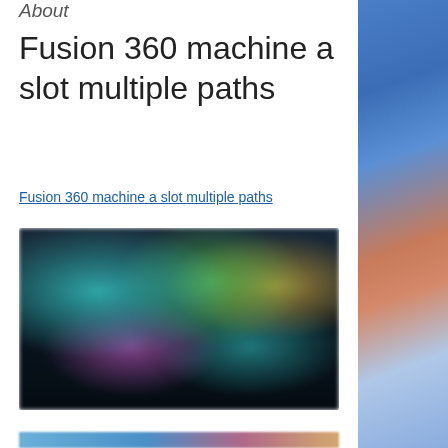About
Fusion 360 machine a slot multiple paths
Fusion 360 machine a slot multiple paths
[Figure (screenshot): Screenshot of a software or gaming interface showing multiple blurred thumbnail panels with dark background, arranged in a grid layout.]
[Figure (photo): Partial photo of a person wearing a blue cap, visible on the right side of the page.]